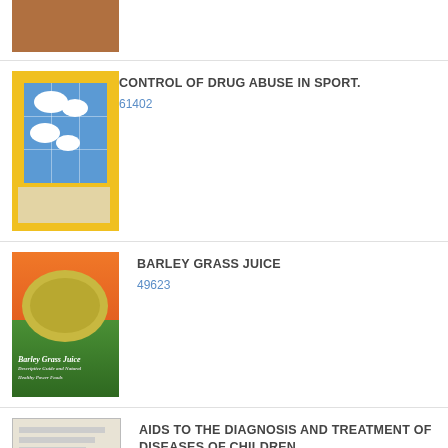[Figure (photo): Partial book cover at top, cropped]
CONTROL OF DRUG ABUSE IN SPORT.
61402
[Figure (photo): Barley Grass Juice book cover with orange/green background]
BARLEY GRASS JUICE
49623
[Figure (photo): Aids to the Diagnosis and Treatment of Diseases of Children book cover, plain beige]
AIDS TO THE DIAGNOSIS AND TREATMENT OF DISEASES OF CHILDREN.
38471
[Figure (photo): Training of University Teachers book cover, dark blue]
TRAINING OF UNIVERSITY TEACHERS
61972